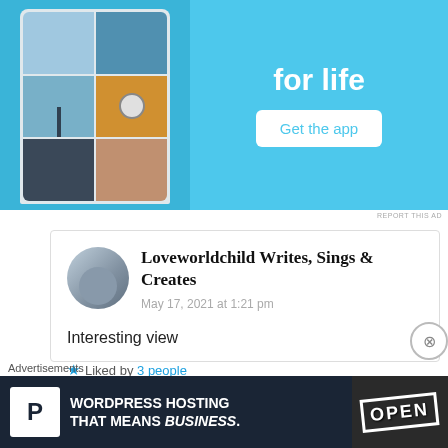[Figure (screenshot): Top banner advertisement with light blue background showing a mobile phone app interface on the left and 'for life' text with a 'Get the app' button on the right]
REPORT THIS AD
Loveworldchild Writes, Sings & Creates
May 17, 2021 at 1:21 pm
Interesting view
Liked by 3 people
Advertisements
[Figure (screenshot): Bottom advertisement banner for WordPress hosting with dark navy background, white P logo, text 'WORDPRESS HOSTING THAT MEANS BUSINESS.' and an OPEN sign photo on the right]